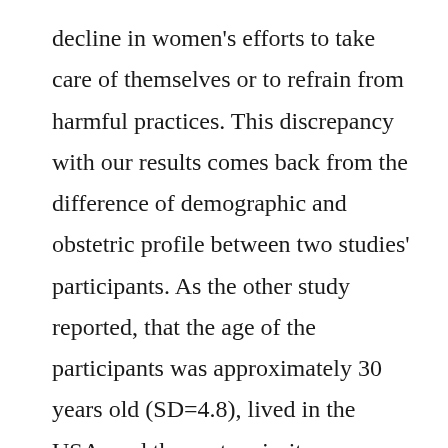decline in women's efforts to take care of themselves or to refrain from harmful practices. This discrepancy with our results comes back from the difference of demographic and obstetric profile between two studies' participants. As the other study reported, that the age of the participants was approximately 30 years old (SD=4.8), lived in the USA, and the vast majority completed high school. Besides, half of the participants had a higher annual household income, and the majority were primiparous. It helped their study participants to adopt healthy behaviors and have some welfare to be far from engaging in impairing